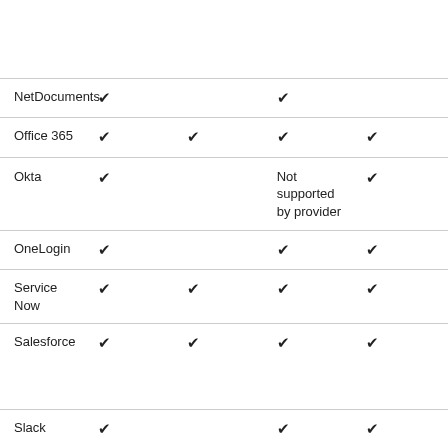|  |  |  |  |  |
| --- | --- | --- | --- | --- |
| NetDocuments | ✔ |  | ✔ |  |
| Office 365 | ✔ | ✔ | ✔ | ✔ |
| Okta | ✔ |  | Not supported by provider | ✔ |
| OneLogin | ✔ |  | ✔ | ✔ |
| Service Now | ✔ | ✔ | ✔ | ✔ |
| Salesforce | ✔ | ✔ | ✔ | ✔ |
| Slack | ✔ |  | ✔ | ✔ |